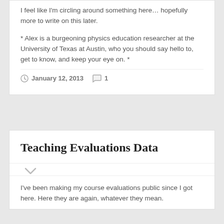I feel like I'm circling around something here… hopefully more to write on this later.
* Alex is a burgeoning physics education researcher at the University of Texas at Austin, who you should say hello to, get to know, and keep your eye on. *
January 12, 2013   1
Teaching Evaluations Data
I've been making my course evaluations public since I got here. Here they are again, whatever they mean.